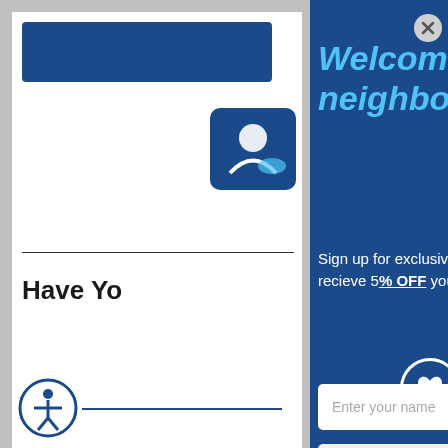[Figure (screenshot): Website page with navigation bar, logo, 'Have Yo...' heading, and accessibility icon on the left side. A modal popup overlays the right portion with a dark blue background.]
Welcome to the neighborhood.
Sign up for exclusive offers and content and recieve 5% OFF your next order.
[Figure (other): Input field: Enter your name]
[Figure (other): Input field: Enter your phone number]